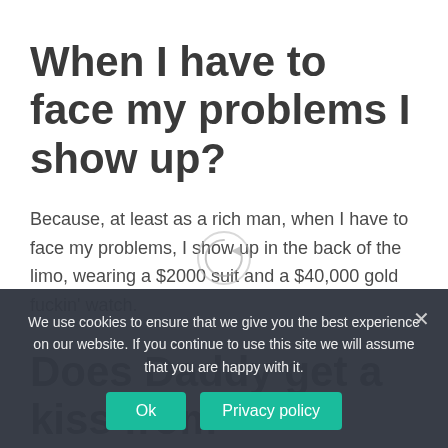When I have to face my problems I show up?
Because, at least as a rich man, when I have to face my problems, I show up in the back of the limo, wearing a $2000 suit and a $40,000 gold fuckin' watch.
Does Daddy get a kiss from
We use cookies to ensure that we give you the best experience on our website. If you continue to use this site we will assume that you are happy with it.